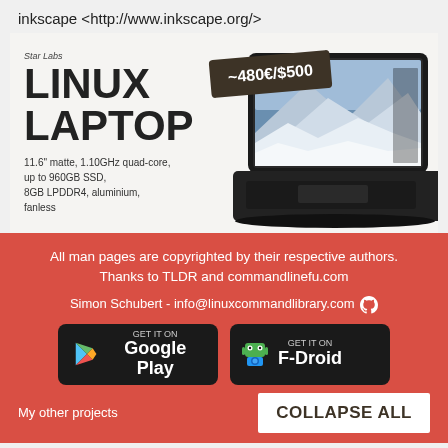inkscape <http://www.inkscape.org/>
[Figure (infographic): Star Labs Linux Laptop advertisement. Shows laptop image with price badge ~480€/$500, text: Star Labs, LINUX LAPTOP, 11.6 matte, 1.10GHz quad-core, up to 960GB SSD, 8GB LPDDR4, aluminium, fanless]
All man pages are copyrighted by their respective authors. Thanks to TLDR and commandlinefu.com
Simon Schubert - info@linuxcommandlibrary.com
[Figure (logo): GET IT ON Google Play badge]
[Figure (logo): GET IT ON F-Droid badge]
My other projects
COLLAPSE ALL